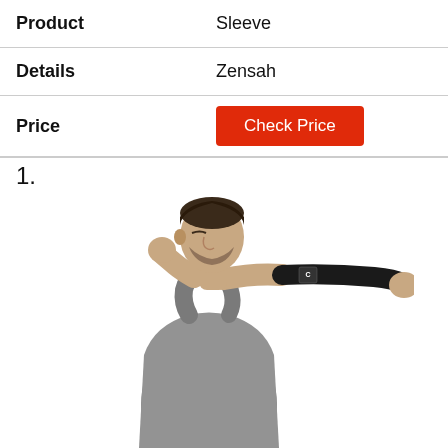| Product |  |
| --- | --- |
| Product | Sleeve |
| Details | Zensah |
| Price | Check Price |
1.
[Figure (photo): A man wearing a gray sleeveless shirt and a black compression arm sleeve, extending his arm forward in a boxing punch pose against a white background.]